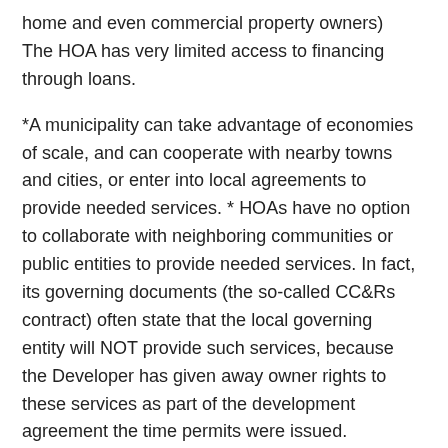home and even commercial property owners) The HOA has very limited access to financing through loans.
*A municipality can take advantage of economies of scale, and can cooperate with nearby towns and cities, or enter into local agreements to provide needed services. * HOAs have no option to collaborate with neighboring communities or public entities to provide needed services. In fact, its governing documents (the so-called CC&Rs contract) often state that the local governing entity will NOT provide such services, because the Developer has given away owner rights to these services as part of the development agreement the time permits were issued.